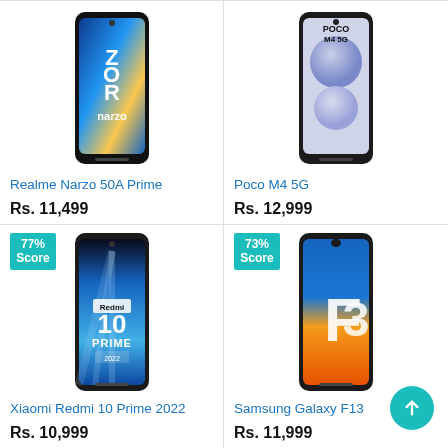[Figure (photo): Realme Narzo 50A Prime smartphone product image]
Realme Narzo 50A Prime
Rs. 11,499
[Figure (photo): Poco M4 5G smartphone product image]
Poco M4 5G
Rs. 12,999
[Figure (photo): Xiaomi Redmi 10 Prime 2022 smartphone product image with 77% Score badge]
Xiaomi Redmi 10 Prime 2022
Rs. 10,999
[Figure (photo): Samsung Galaxy F13 smartphone product image with 73% Score badge]
Samsung Galaxy F13
Rs. 11,999